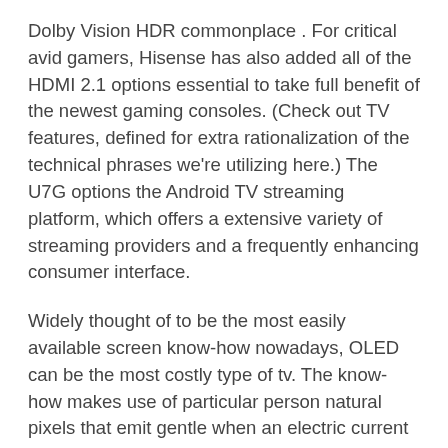Dolby Vision HDR commonplace . For critical avid gamers, Hisense has also added all of the HDMI 2.1 options essential to take full benefit of the newest gaming consoles. (Check out TV features, defined for extra rationalization of the technical phrases we're utilizing here.) The U7G options the Android TV streaming platform, which offers a extensive variety of streaming providers and a frequently enhancing consumer interface.
Widely thought of to be the most easily available screen know-how nowadays, OLED can be the most costly type of tv. The know-how makes use of particular person natural pixels that emit gentle when an electric current passes via it. OLED TVs are known for having the most effective black ranges, as areas of the screen which would possibly be black are able to simply swap off, even while other elements of the screen are lit.
Android TV has turn into a much better streaming choice than it was only a few years ago, and the X950U includes a lot of